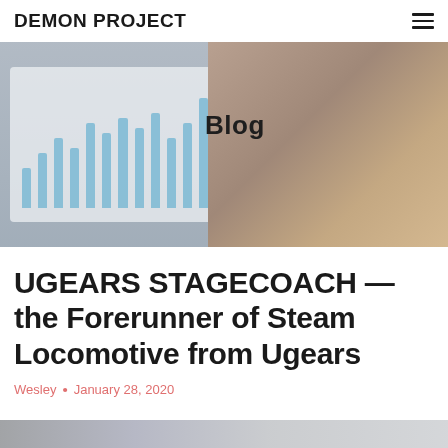DEMON PROJECT
[Figure (photo): Hero banner image showing a person from behind working at a laptop displaying a bar chart, with 'Blog' text overlay. Background is muted blue-grey tones.]
UGEARS STAGECOACH —the Forerunner of Steam Locomotive from Ugears
Wesley • January 28, 2020
[Figure (photo): Bottom strip showing partial thumbnail image]